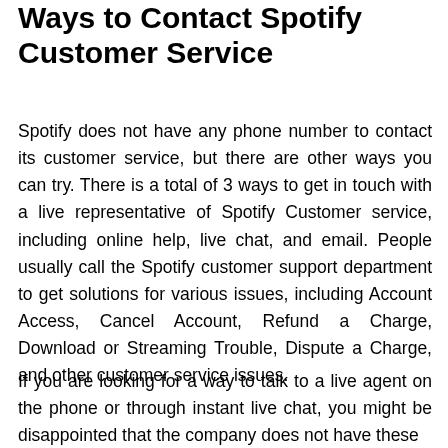Ways to Contact Spotify Customer Service
Spotify does not have any phone number to contact its customer service, but there are other ways you can try. There is a total of 3 ways to get in touch with a live representative of Spotify Customer service, including online help, live chat, and email. People usually call the Spotify customer support department to get solutions for various issues, including Account Access, Cancel Account, Refund a Charge, Download or Streaming Trouble, Dispute a Charge, and other customer service issues.
If you are looking for a way to talk to a live agent on the phone or through instant live chat, you might be disappointed that the company does not have these